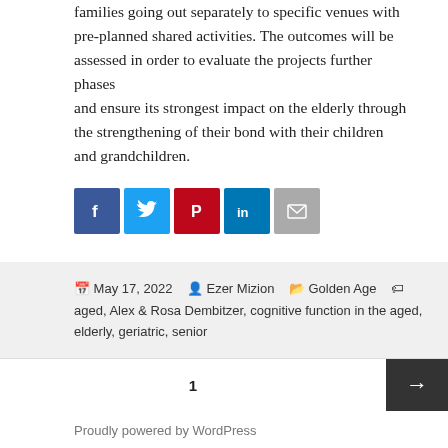families going out separately to specific venues with pre‑planned shared activities. The outcomes will be assessed in order to evaluate the projects further phases
and ensure its strongest impact on the elderly through the strengthening of their bond with their children and grandchildren.
[Figure (other): Social sharing icons: Facebook (blue), Twitter (light blue), Pinterest (red), LinkedIn (dark blue), Email (grey)]
May 17, 2022  Ezer Mizion  Golden Age  aged, Alex & Rosa Dembitzer, cognitive function in the aged, elderly, geriatric, senior
1
Proudly powered by WordPress